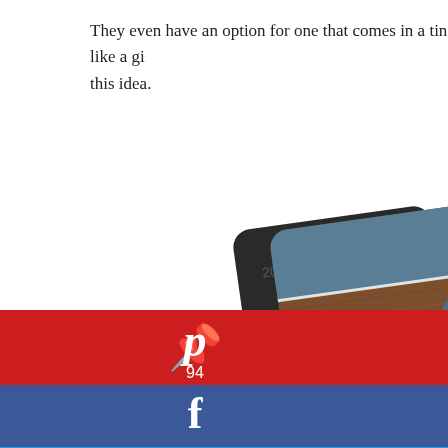They even have an option for one that comes in a tin like a gi… this idea.
[Figure (photo): A wooden and blue card holder/wallet product shown partially, with social media share buttons overlaid: Pinterest (94 shares), Facebook, Twitter, and Google+]
Pinterest 94
Facebook
Twitter
Google+